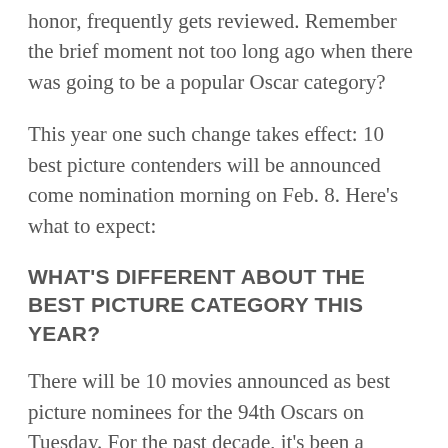honor, frequently gets reviewed. Remember the brief moment not too long ago when there was going to be a popular Oscar category?
This year one such change takes effect: 10 best picture contenders will be announced come nomination morning on Feb. 8. Here’s what to expect:
WHAT’S DIFFERENT ABOUT THE BEST PICTURE CATEGORY THIS YEAR?
There will be 10 movies announced as best picture nominees for the 94th Oscars on Tuesday. For the past decade, it’s been a sliding range of five to 10 nominees. Most years had eight or nine.
IS THIS UNPRECEDENTED?